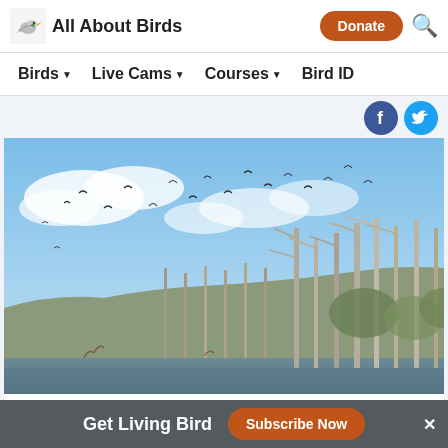All About Birds
Birds  Live Cams  Courses  Bird ID
[Figure (photo): Punta Soldado mangroves with birds flying over bare trees along a waterway, with blue sky and clouds in the background.]
Punta Soldado mangroves. Photo courtesy of Johann Delgado.
Get Living Bird  Subscribe Now